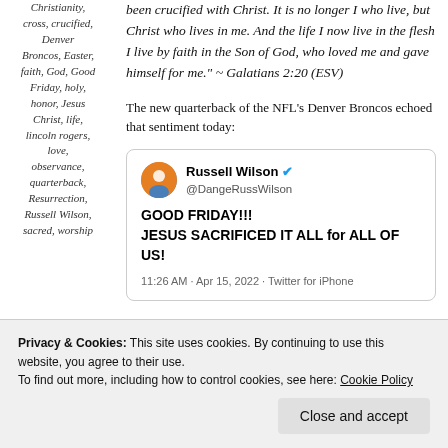Christianity, cross, crucified, Denver Broncos, Easter, faith, God, Good Friday, holy, honor, Jesus Christ, life, lincoln rogers, love, observance, quarterback, Resurrection, Russell Wilson, sacred, worship
been crucified with Christ. It is no longer I who live, but Christ who lives in me. And the life I now live in the flesh I live by faith in the Son of God, who loved me and gave himself for me." ~ Galatians 2:20 (ESV)
The new quarterback of the NFL's Denver Broncos echoed that sentiment today:
[Figure (screenshot): Embedded tweet from Russell Wilson (@DangeRussWilson) verified account, posted 11:26 AM · Apr 15, 2022 · Twitter for iPhone. Tweet text: GOOD FRIDAY!!! JESUS SACRIFICED IT ALL for ALL OF US!]
Privacy & Cookies: This site uses cookies. By continuing to use this website, you agree to their use. To find out more, including how to control cookies, see here: Cookie Policy
Close and accept